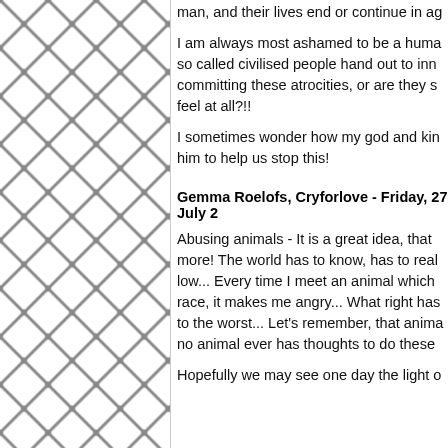[Figure (illustration): Chain-link fence pattern filling the left third of the page]
man, and their lives end or continue in ag
I am always most ashamed to be a huma so called civilised people hand out to inn committing these atrocities, or are they s feel at all?!!
I sometimes wonder how my god and kin him to help us stop this!
Gemma Roelofs, Cryforlove - Friday, 27 July 2
Abusing animals - It is a great idea, that more! The world has to know, has to real low... Every time I meet an animal which race, it makes me angry... What right has to the worst... Let's remember, that anima no animal ever has thoughts to do these
Hopefully we may see one day the light o